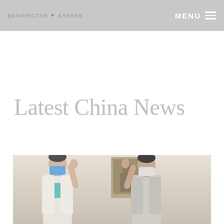BENNINGTON BANNER
Latest China News
[Figure (photo): Two women wearing face masks waving, standing indoors in front of a framed portrait painting on the wall.]